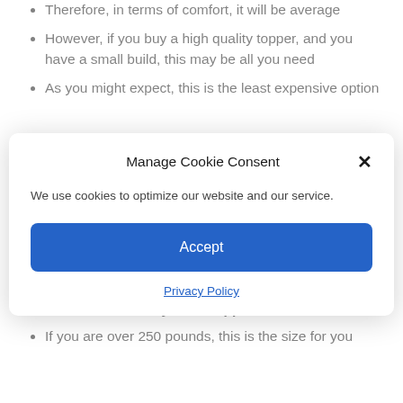Therefore, in terms of comfort, it will be average
However, if you buy a high quality topper, and you have a small build, this may be all you need
As you might expect, this is the least expensive option
[Figure (screenshot): Cookie consent modal dialog with title 'Manage Cookie Consent', close button (×), body text 'We use cookies to optimize our website and our service.', a blue Accept button, and a Privacy Policy link]
can afford right now, go with this size
For the 4 inch memory foam topper:
If you are over 250 pounds, this is the size for you